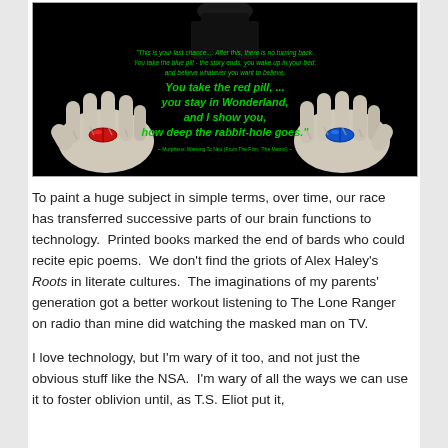[Figure (photo): Black and white image from The Matrix film showing two hands - one holding a red pill (left) and one holding a blue pill (right). Green text overlaid reads: "This is your last chance.... After this, there is no turning back. You take the blue pill - the story ends, you wake up in your bed, and believe whatever you want to believe. You take the red pill, ... you stay in Wonderland, and I show you, how deep the rabbit-hole goes." Attribution: Morpheus' Warning To Neo (From The Film; 'The Matrix')]
To paint a huge subject in simple terms, over time, our race has transferred successive parts of our brain functions to technology.  Printed books marked the end of bards who could recite epic poems.  We don't find the griots of Alex Haley's Roots in literate cultures.  The imaginations of my parents' generation got a better workout listening to The Lone Ranger on radio than mine did watching the masked man on TV.
I love technology, but I'm wary of it too, and not just the obvious stuff like the NSA.  I'm wary of all the ways we can use it to foster oblivion until, as T.S. Eliot put it,